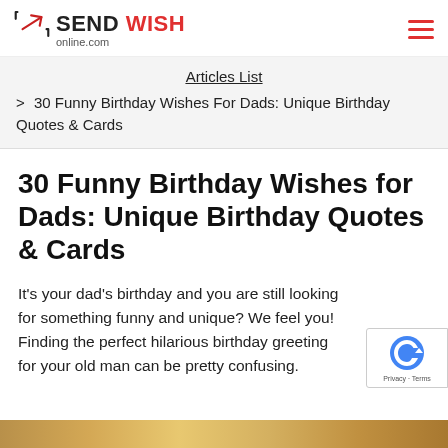SEND WISH online.com
Articles List
> 30 Funny Birthday Wishes For Dads: Unique Birthday Quotes & Cards
30 Funny Birthday Wishes for Dads: Unique Birthday Quotes & Cards
It's your dad's birthday and you are still looking for something funny and unique? We feel you! Finding the perfect hilarious birthday greeting for your old man can be pretty confusing.
[Figure (photo): Partial view of a colorful image at the bottom of the page]